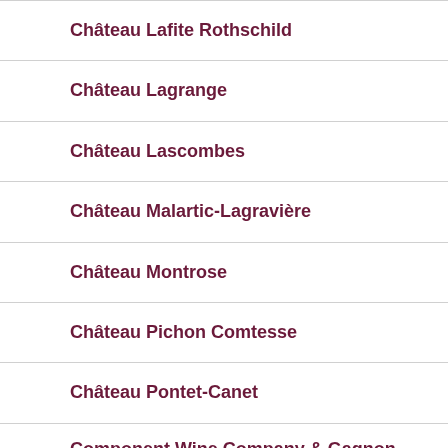Château Lafite Rothschild
Château Lagrange
Château Lascombes
Château Malartic-Lagravière
Château Montrose
Château Pichon Comtesse
Château Pontet-Canet
Component Wine Company & Gagnon Kennedy Vineyards
Cuzen Matcha
DC Brau Brewing Company